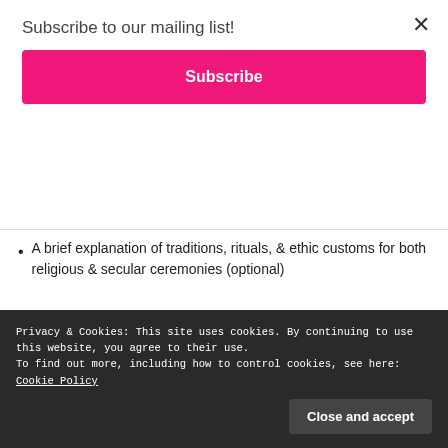Subscribe to our mailing list!
Subscribe
A brief explanation of traditions, rituals, & ethic customs for both religious & secular ceremonies (optional)
Advertisements
[Figure (other): Red advertisement banner with phone showing 'Distrib' text and headline 'An app by listeners, for listeners.']
Privacy & Cookies: This site uses cookies. By continuing to use this website, you agree to their use.
To find out more, including how to control cookies, see here: Cookie Policy
Close and accept